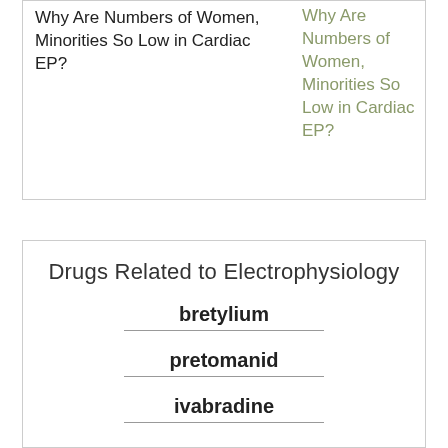Why Are Numbers of Women, Minorities So Low in Cardiac EP?
Why Are Numbers of Women, Minorities So Low in Cardiac EP?
Drugs Related to Electrophysiology
bretylium
pretomanid
ivabradine